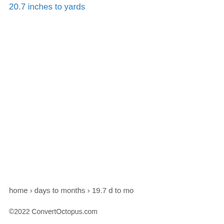20.7 inches to yards
home › days to months › 19.7 d to mo
©2022 ConvertOctopus.com